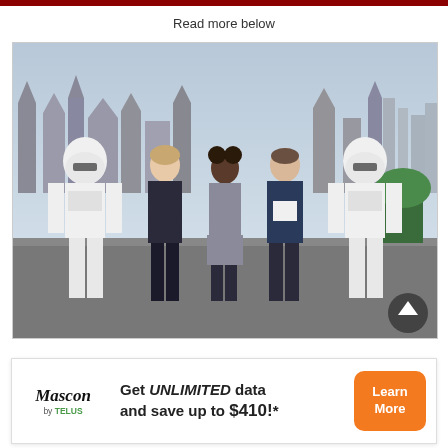Read more below
[Figure (photo): Three people (two men and a woman) standing on a London rooftop terrace flanked by two people in Stormtrooper costumes, with the London skyline visible in the background.]
[Figure (infographic): Advertisement banner for Mascon by TELUS: 'Get UNLIMITED data and save up to $410!*' with a Learn More button.]